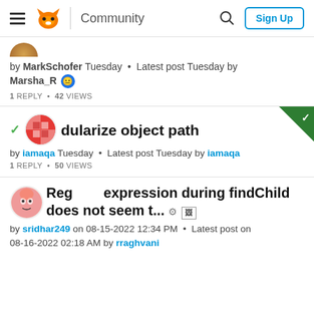Community | Sign Up
by MarkSchofer Tuesday · Latest post Tuesday by Marsha_R
1 REPLY · 42 VIEWS
dularize object path
by iamaqa Tuesday · Latest post Tuesday by iamaqa
1 REPLY · 50 VIEWS
Reg expression during findChild does not seem t...
by sridhar249 on 08-15-2022 12:34 PM · Latest post on 08-16-2022 02:18 AM by rraghvani